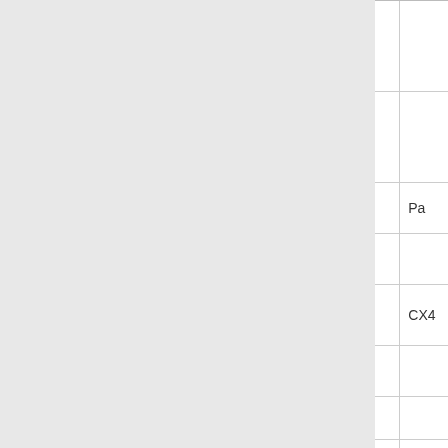|  | Size | Class |  |
| --- | --- | --- | --- |
| Pretech | 15"-36" | B |  |
| Pretech | 42"-78" | B/C |  |
| Forterra | 12" | C | Pa |
| Forterra | 15"-18" | B/C |  |
| Forterra | 21" | B/C | CX4 |
| Forterra | 24"-36" | B/C |  |
| Forterra | 42" | B |  |
| Forterra | 42" | C |  |
| Forterra | 48" | C |  |